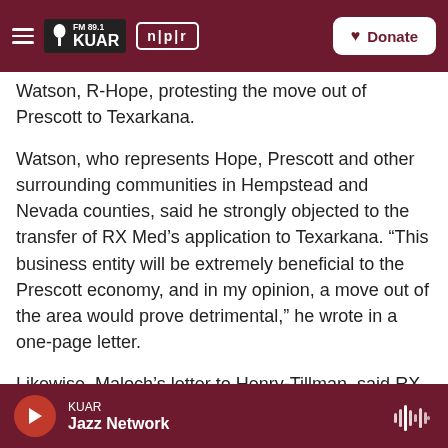FM 89.1 KUAR | npr | Donate
Watson, R-Hope, protesting the move out of Prescott to Texarkana.
Watson, who represents Hope, Prescott and other surrounding communities in Hempstead and Nevada counties, said he strongly objected to the transfer of RX Med’s application to Texarkana. “This business entity will be extremely beneficial to the Prescott economy, and in my opinion, a move out of the area would prove detrimental,” he wrote in a one-page letter.
Likewise, Maloch’s letter to Henry-Tillman, said RX
KUAR | Jazz Network